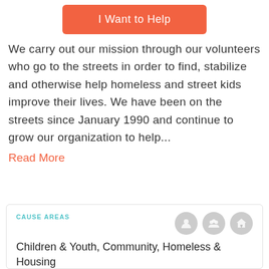[Figure (other): Orange button labeled 'I Want to Help']
We carry out our mission through our volunteers who go to the streets in order to find, stabilize and otherwise help homeless and street kids improve their lives. We have been on the streets since January 1990 and continue to grow our organization to help...
Read More
CAUSE AREAS
Children & Youth, Community, Homeless & Housing
WHEN
Well-based, with some scheduled...